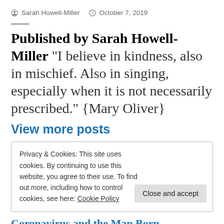Sarah Howell-Miller   October 7, 2019
Published by Sarah Howell-Miller "I believe in kindness, also in mischief. Also in singing, especially when it is not necessarily prescribed." {Mary Oliver}
View more posts
Privacy & Cookies: This site uses cookies. By continuing to use this website, you agree to their use. To find out more, including how to control cookies, see here: Cookie Policy
Coronavirus and the Man Born